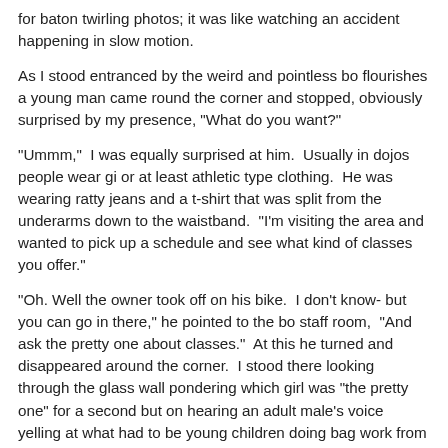for baton twirling photos; it was like watching an accident happening in slow motion.
As I stood entranced by the weird and pointless bo flourishes a young man came round the corner and stopped, obviously surprised by my presence, "What do you want?"
"Ummm,"  I was equally surprised at him.  Usually in dojos people wear gi or at least athletic type clothing.  He was wearing ratty jeans and a t-shirt that was split from the underarms down to the waistband.  "I'm visiting the area and wanted to pick up a schedule and see what kind of classes you offer."
"Oh. Well the owner took off on his bike.  I don't know- but you can go in there," he pointed to the bo staff room,  "And ask the pretty one about classes."  At this he turned and disappeared around the corner.  I stood there looking through the glass wall pondering which girl was "the pretty one" for a second but on hearing an adult male's voice yelling at what had to be young children doing bag work from around the corner to, "Stop doing it wrong!" I decided to slip